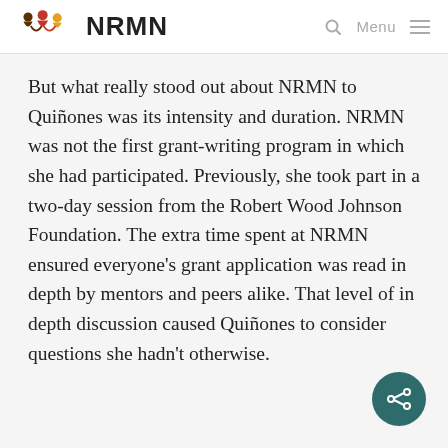NRMN
But what really stood out about NRMN to Quiñones was its intensity and duration. NRMN was not the first grant-writing program in which she had participated. Previously, she took part in a two-day session from the Robert Wood Johnson Foundation. The extra time spent at NRMN ensured everyone's grant application was read in depth by mentors and peers alike. That level of in depth discussion caused Quiñones to consider questions she hadn't otherwise.